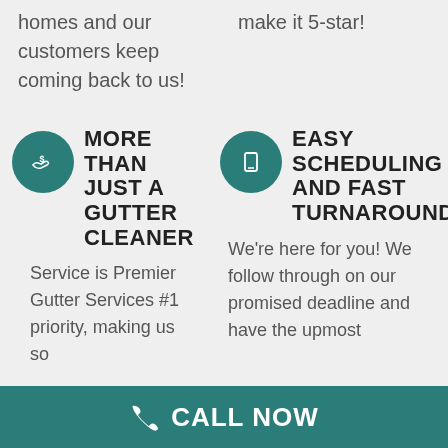homes and our customers keep coming back to us!
make it 5-star!
MORE THAN JUST A GUTTER CLEANER
EASY SCHEDULING AND FAST TURNAROUND
Service is Premier Gutter Services #1 priority, making us so
We're here for you! We follow through on our promised deadline and have the upmost
CALL NOW